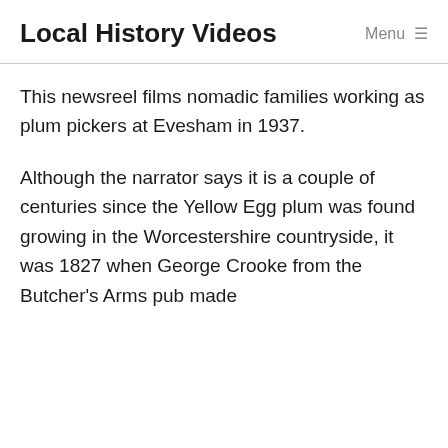Local History Videos  Menu ≡
This newsreel films nomadic families working as plum pickers at Evesham in 1937.
Although the narrator says it is a couple of centuries since the Yellow Egg plum was found growing in the Worcestershire countryside, it was 1827 when George Crooke from the Butcher's Arms pub made